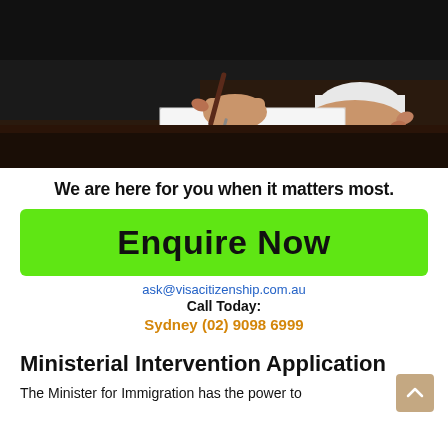[Figure (photo): Person in suit signing a document with a pen on a dark wooden desk]
We are here for you when it matters most.
Enquire Now
ask@visacitizenship.com.au
Call Today:
Sydney (02) 9098 6999
Ministerial Intervention Application
The Minister for Immigration has the power to